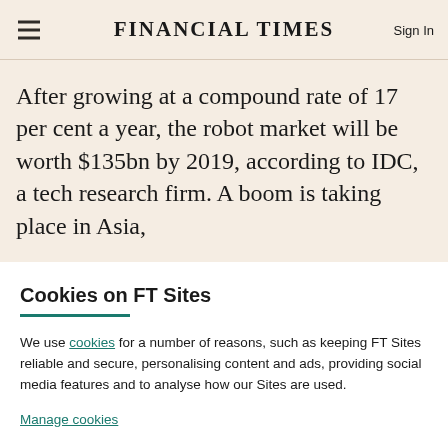FINANCIAL TIMES
After growing at a compound rate of 17 per cent a year, the robot market will be worth $135bn by 2019, according to IDC, a tech research firm. A boom is taking place in Asia,
Cookies on FT Sites
We use cookies for a number of reasons, such as keeping FT Sites reliable and secure, personalising content and ads, providing social media features and to analyse how our Sites are used.
Manage cookies
Accept & continue